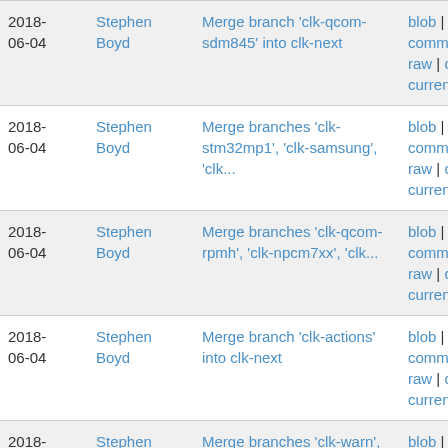| Date | Author | Commit Message | Links |
| --- | --- | --- | --- |
| 2018-06-04 | Stephen Boyd | Merge branch 'clk-qcom-sdm845' into clk-next | blob | commitdiff | raw | diff to current |
| 2018-06-04 | Stephen Boyd | Merge branches 'clk-stm32mp1', 'clk-samsung', 'clk... | blob | commitdiff | raw | diff to current |
| 2018-06-04 | Stephen Boyd | Merge branches 'clk-qcom-rpmh', 'clk-npcm7xx', 'clk... | blob | commitdiff | raw | diff to current |
| 2018-06-04 | Stephen Boyd | Merge branch 'clk-actions' into clk-next | blob | commitdiff | raw | diff to current |
| 2018-06-04 | Stephen Boyd | Merge branches 'clk-warn', 'clk-core', 'clk-spear'... | blob | commitdiff | raw | diff to current |
| 2018-06-0? | Olof ... | Merge tag 'pxa-dt-4.18' of http://github.com/... | blob | commitdiff | ... |